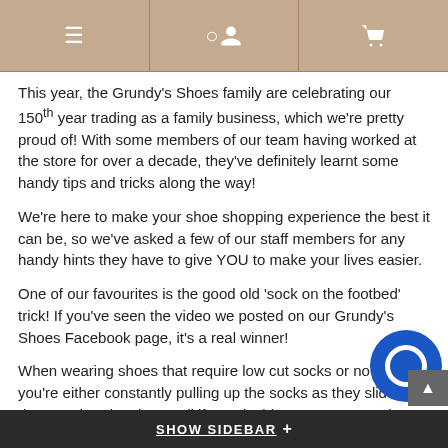[navigation icons: menu, user, cart]
This year, the Grundy's Shoes family are celebrating our 150th year trading as a family business, which we're pretty proud of! With some members of our team having worked at the store for over a decade, they've definitely learnt some handy tips and tricks along the way!
We're here to make your shoe shopping experience the best it can be, so we've asked a few of our staff members for any handy hints they have to give YOU to make your lives easier.
One of our favourites is the good old 'sock on the footbed' trick! If you've seen the video we posted on our Grundy's Shoes Facebook page, it's a real winner!
When wearing shoes that require low cut socks or no socks, you're either constantly pulling up the socks as they slide down, or bearing the smell if you decide not to wear socks at all – right?? Well, have you tried putting the sock on the footbed (if it's removable of course)? This way, you feel like you're wearing socks, but instead of slipping down, they stay put!
SHOW SIDEBAR +